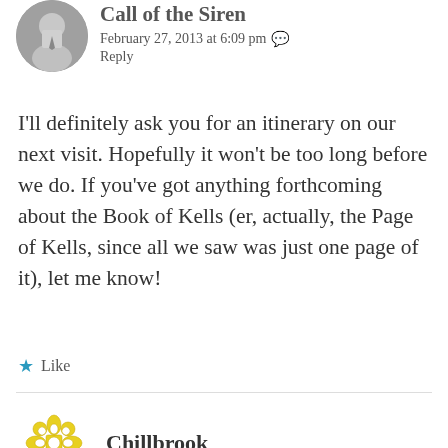[Figure (photo): Circular avatar photo of a person in a tie, partially visible at top]
Call of the Siren
February 27, 2013 at 6:09 pm
Reply
I'll definitely ask you for an itinerary on our next visit. Hopefully it won't be too long before we do. If you've got anything forthcoming about the Book of Kells (er, actually, the Page of Kells, since all we saw was just one page of it), let me know!
★ Like
[Figure (logo): Yellow geometric/floral logo for Chillbrook]
Chillbrook